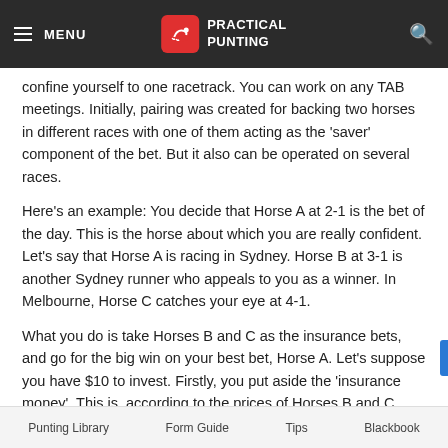MENU | PRACTICAL PUNTING
confine yourself to one racetrack. You can work on any TAB meetings. Initially, pairing was created for backing two horses in different races with one of them acting as the 'saver' component of the bet. But it also can be operated on several races.
Here's an example: You decide that Horse A at 2-1 is the bet of the day. This is the horse about which you are really confident. Let's say that Horse A is racing in Sydney. Horse B at 3-1 is another Sydney runner who appeals to you as a winner. In Melbourne, Horse C catches your eye at 4-1.
What you do is take Horses B and C as the insurance bets, and go for the big win on your best bet, Horse A. Let's suppose you have $10 to invest. Firstly, you put aside the 'insurance money'. This is, according to the prices of Horses B and C, $2.50 on Horse B (the 3-1 chance) and $2 on Horse C (the 4-1 chance). All you do is add one to each price and divide into 10.
Punting Library   Form Guide   Tips   Blackbook